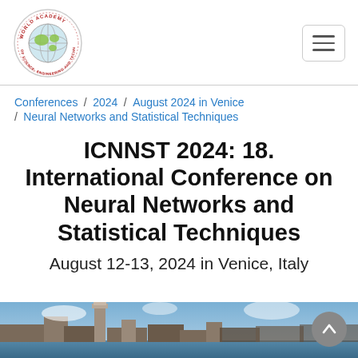[Figure (logo): World Academy of Science, Engineering and Technology circular logo with globe in center]
Conferences / 2024 / August 2024 in Venice / Neural Networks and Statistical Techniques
ICNNST 2024: 18. International Conference on Neural Networks and Statistical Techniques
August 12-13, 2024 in Venice, Italy
[Figure (photo): Aerial or wide photo of Venice, Italy cityscape]